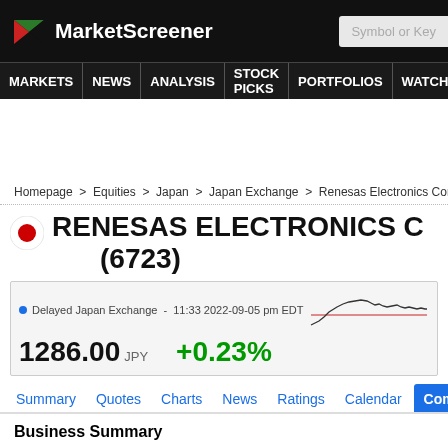MarketScreener
MARKETS NEWS ANALYSIS STOCK PICKS PORTFOLIOS WATCHLI
Homepage > Equities > Japan > Japan Exchange > Renesas Electronics Corporati
RENESAS ELECTRONICS C (6723)
Delayed Japan Exchange - 11:33 2022-09-05 pm EDT  1286.00 JPY  +0.23%
[Figure (line-chart): Small inline sparkline chart showing recent stock price trend for Renesas Electronics, with a red horizontal reference line and a black price line trending upward then leveling off.]
Summary   Quotes   Charts   News   Ratings   Calendar   Company
Business Summary